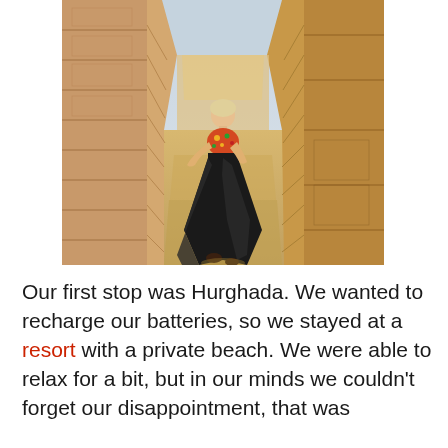[Figure (photo): A woman in a floral strapless top and flowing black skirt walks through a narrow passage between tall ancient stone walls, resembling an Egyptian temple corridor. The walls are made of large sandstone blocks with carved reliefs. Natural light illuminates the scene.]
Our first stop was Hurghada. We wanted to recharge our batteries, so we stayed at a resort with a private beach. We were able to relax for a bit, but in our minds we couldn't forget our disappointment, that was